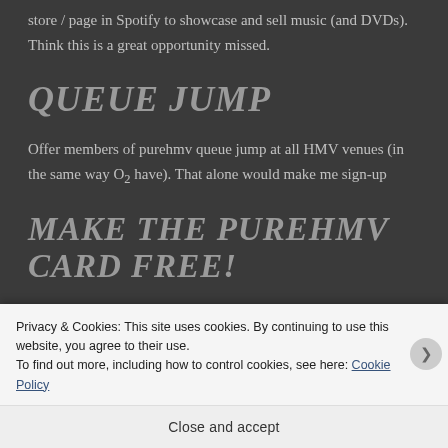store / page in Spotify to showcase and sell music (and DVDs). Think this is a great opportunity missed.
QUEUE JUMP
Offer members of purehmv queue jump at all HMV venues (in the same way O₂ have). That alone would make me sign-up
MAKE THE PUREHMV CARD FREE!
Privacy & Cookies: This site uses cookies. By continuing to use this website, you agree to their use.
To find out more, including how to control cookies, see here: Cookie Policy
Close and accept